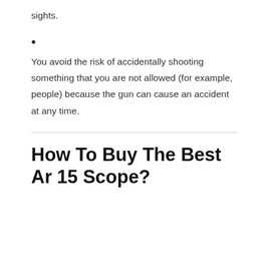sights.
You avoid the risk of accidentally shooting something that you are not allowed (for example, people) because the gun can cause an accident at any time.
How To Buy The Best Ar 15 Scope?